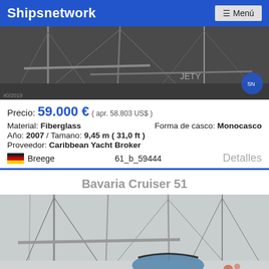Shipsnetwork  ☰ Menú
[Figure (photo): Photo of a sailboat mast and rigging, dark/grey tones, partially visible hull and ropes]
Precio: 59.000 € ( apr. 58.803 US$ )
Material: Fiberglass    Forma de casco: Monocasco
Año: 2007 / Tamano: 9,45 m ( 31,0 ft )
Proveedor: Caribbean Yacht Broker
🇩🇪 Breege    61_b_59444    Detalles
Bavaria Cruiser 51
[Figure (photo): Photo of Bavaria Cruiser 51 sailboat at marina, showing cockpit, masts and rigging, grey/white tones]